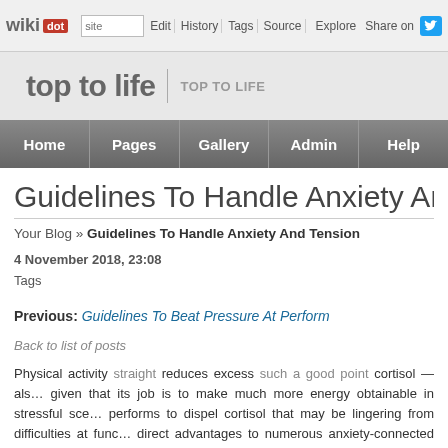wikidot | site | Edit | History | Tags | Source | Explore | Share on [twitter]
top to life | TOP TO LIFE
Home | Pages | Gallery | Admin | Help
Guidelines To Handle Anxiety And Tension
Your Blog » Guidelines To Handle Anxiety And Tension
4 November 2018, 23:08
Tags
Previous: Guidelines To Beat Pressure At Perform
Back to list of posts
Physical activity straight reduces excess such a good point cortisol — also given that its job is to make much more energy obtainable in stressful scenarios performs to dispel cortisol that may be lingering from difficulties at func direct advantages to numerous anxiety-connected difficulties — obesity, increased brain functioning that supports self-regulation. Even if you hap a bowl, taking some time to unwind and watch a fish glide around in the w